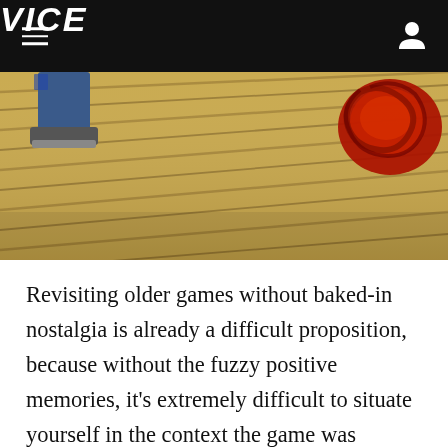VICE
[Figure (photo): Close-up photo of a wooden floor with a person's shoe (blue jeans/sneaker) in the upper left and a red coiled object in the upper right corner.]
Revisiting older games without baked-in nostalgia is already a difficult proposition, because without the fuzzy positive memories, it's extremely difficult to situate yourself in the context the game was released in and fully appreciate what it was trying to do at that point in history. Playing games from the past requires a deft hand, because so much of video game design is specifically iterating on the past, often making it hard to fully appreciate what game